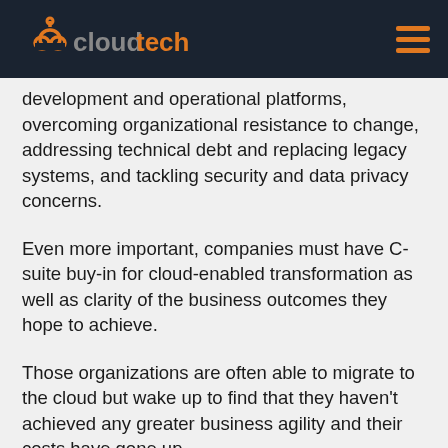cloudtech
development and operational platforms, overcoming organizational resistance to change, addressing technical debt and replacing legacy systems, and tackling security and data privacy concerns.
Even more important, companies must have C-suite buy-in for cloud-enabled transformation as well as clarity of the business outcomes they hope to achieve.
Those organizations are often able to migrate to the cloud but wake up to find that they haven't achieved any greater business agility and their costs have gone up.
It is...